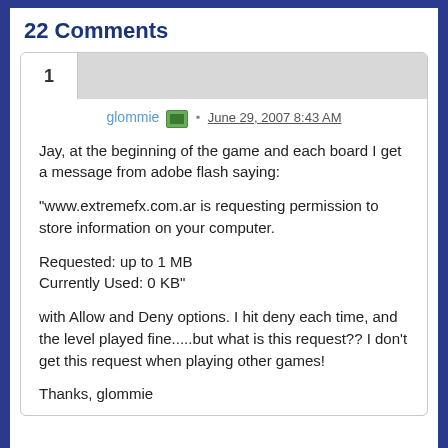22 Comments
glommie • June 29, 2007 8:43 AM

Jay, at the beginning of the game and each board I get a message from adobe flash saying:

"www.extremefx.com.ar is requesting permission to store information on your computer.

Requested: up to 1 MB
Currently Used: 0 KB"

with Allow and Deny options. I hit deny each time, and the level played fine.....but what is this request?? I don't get this request when playing other games!

Thanks, glommie